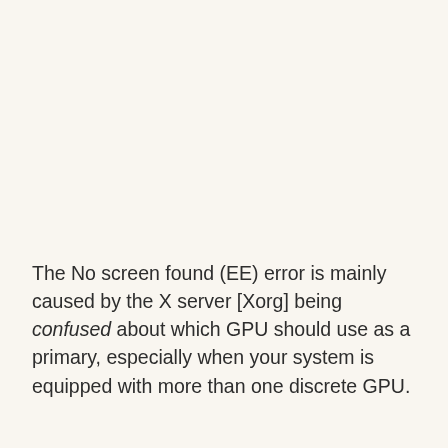The No screen found (EE) error is mainly caused by the X server [Xorg] being confused about which GPU should use as a primary, especially when your system is equipped with more than one discrete GPU.